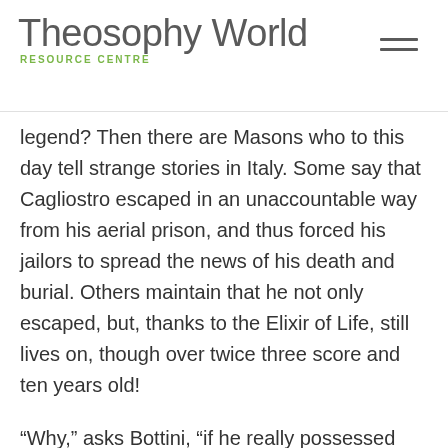Theosophy World RESOURCE CENTRE
legend? Then there are Masons who to this day tell strange stories in Italy. Some say that Cagliostro escaped in an unaccountable way from his aerial prison, and thus forced his jailors to spread the news of his death and burial. Others maintain that he not only escaped, but, thanks to the Elixir of Life, still lives on, though over twice three score and ten years old!
“Why,” asks Bottini, “if he really possessed the powers he claimed, has he not indeed vanished from his jailors, and thus escaped